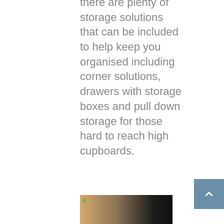there are plenty of storage solutions that can be included to help keep you organised including corner solutions, drawers with storage boxes and pull down storage for those hard to reach high cupboards.
[Figure (photo): Interior photo showing modern kitchen cabinetry with wooden and dark panels]